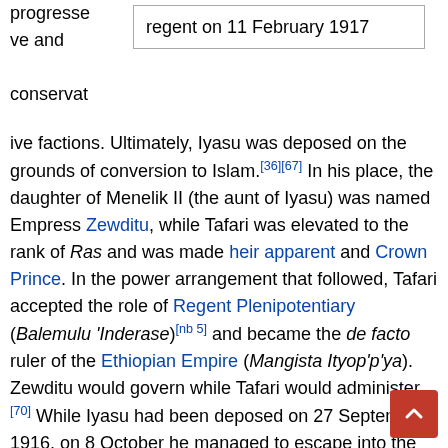progresse ve and conservat
| regent on 11 February 1917 |
ive factions. Ultimately, Iyasu was deposed on the grounds of conversion to Islam.[36][67] In his place, the daughter of Menelik II (the aunt of Iyasu) was named Empress Zewditu, while Tafari was elevated to the rank of Ras and was made heir apparent and Crown Prince. In the power arrangement that followed, Tafari accepted the role of Regent Plenipotentiary (Balemulu 'Inderase)[nb 5] and became the de facto ruler of the Ethiopian Empire (Mangista Ityop'p'ya). Zewditu would govern while Tafari would administer.[70] While Iyasu had been deposed on 27 September 1916, on 8 October he managed to escape into the Ogaden Desert